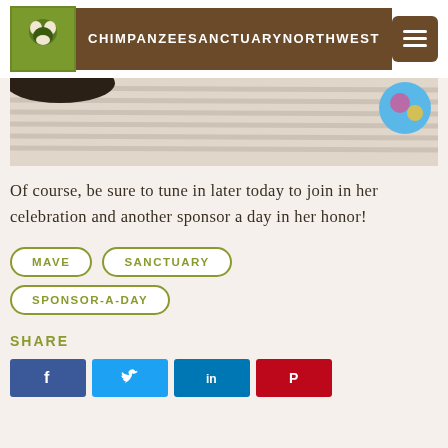CHIMPANZEE SANCTUARY NORTHWEST
[Figure (photo): Partial photo strip showing a close-up surface with a colorful object visible on the right side]
Of course, be sure to tune in later today to join in her celebration and another sponsor a day in her honor!
MAVE
SANCTUARY
SPONSOR-A-DAY
SHARE
[Figure (infographic): Row of social media share buttons: Facebook (blue), Twitter (blue), LinkedIn (dark blue), Pinterest (red)]